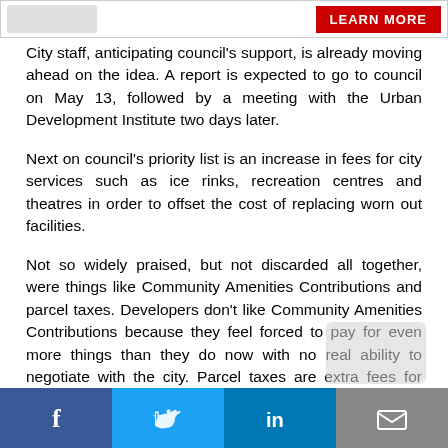[Figure (other): Advertisement banner with shoes image on left and a red LEARN MORE button on right]
City staff, anticipating council's support, is already moving ahead on the idea. A report is expected to go to council on May 13, followed by a meeting with the Urban Development Institute two days later.
Next on council's priority list is an increase in fees for city services such as ice rinks, recreation centres and theatres in order to offset the cost of replacing worn out facilities.
Not so widely praised, but not discarded all together, were things like Community Amenities Contributions and parcel taxes. Developers don't like Community Amenities Contributions because they feel forced to pay for even more things than they do now with no real ability to negotiate with the city. Parcel taxes are extra fees for each residential lot to pay for things like recreation centres.
Even if all the fees and charges under consideration were implemented there would still be a shortfall, so another future part of the discussion will be service levels. For example, the city could reduce the amount of parkland it wants for each resident or delay replacing some facilities.
[Figure (infographic): Social media sharing bar with Facebook, Twitter, LinkedIn, and email icons]